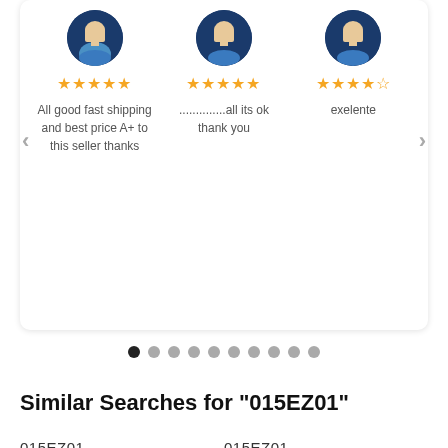[Figure (screenshot): Review carousel with three user reviews, each showing an avatar, star rating, and review text. Navigation arrows on left and right. Pagination dots below.]
Similar Searches for "015EZ01"
015EZ01
015EZ01
015EZ01
015EZ01
PQ015EZ01
015EZ01
PQ015EZ01
015EZ01